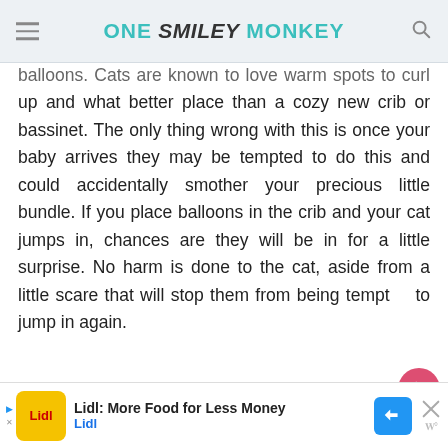ONE SMILEY MONKEY
balloons. Cats are known to love warm spots to curl up and what better place than a cozy new crib or bassinet. The only thing wrong with this is once your baby arrives they may be tempted to do this and could accidentally smother your precious little bundle. If you place balloons in the crib and your cat jumps in, chances are they will be in for a little surprise. No harm is done to the cat, aside from a little scare that will stop them from being tempted to jump in again.
[Figure (other): Lidl advertisement banner: More Food for Less Money - Lidl]
Lidl: More Food for Less Money — Lidl